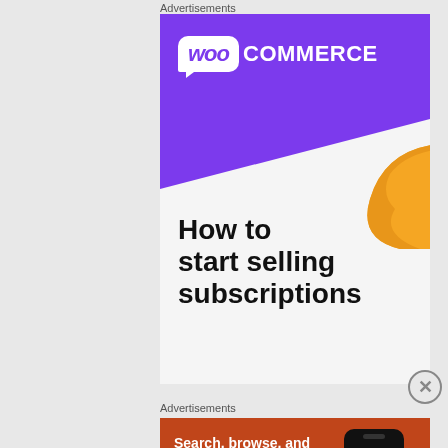Advertisements
[Figure (illustration): WooCommerce advertisement with purple banner, WooCommerce logo, orange decorative shape, and text 'How to start selling subscriptions']
Advertisements
[Figure (illustration): DuckDuckGo advertisement on orange background with text 'Search, browse, and email with more privacy. All in One Free App' and phone graphic with DuckDuckGo logo]